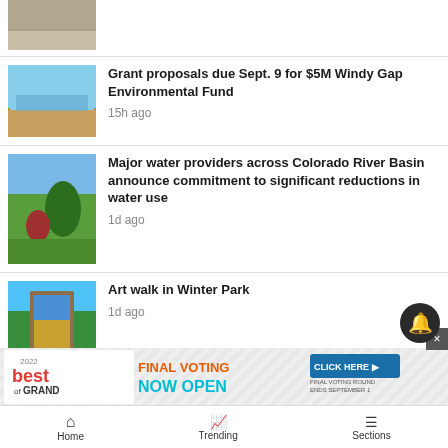[Figure (photo): Partial view of a sandy/rocky waterway or reservoir]
[Figure (photo): Scenic view of Windy Gap reservoir with shrubby landscape and blue sky]
Grant proposals due Sept. 9 for $5M Windy Gap Environmental Fund
15h ago
[Figure (photo): Green park with large tree and red-leafed smaller tree, blue sky]
Major water providers across Colorado River Basin announce commitment to significant reductions in water use
1d ago
[Figure (photo): Painting on an easel showing mountain landscape with wildflowers, set outdoors]
Art walk in Winter Park
1d ago
[Figure (infographic): Advertisement: 2022 Best of Grand - Final Voting Now Open, Click Here, Final Voting Round Ends September 1]
Home   Trending   Sections